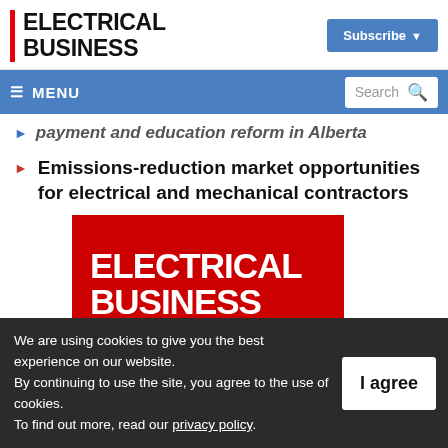ELECTRICAL BUSINESS
Subscribe ▼
≡ MENU   Search 🔍
payment and education reform in Alberta
Emissions-reduction market opportunities for electrical and mechanical contractors
[Figure (logo): Electrical Business magazine cover image with red background and white bold text reading ELECTRICAL BUSINESS]
We are using cookies to give you the best experience on our website.
By continuing to use the site, you agree to the use of cookies.
To find out more, read our privacy policy.